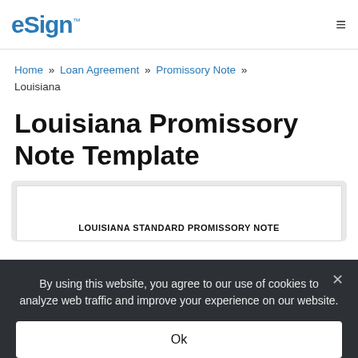eSign™  ≡
Home » Loan Agreement » Promissory Note » Louisiana
Louisiana Promissory Note Template
[Figure (other): Document preview showing top of a Louisiana Standard Promissory Note template document]
By using this website, you agree to our use of cookies to analyze web traffic and improve your experience on our website.
Ok